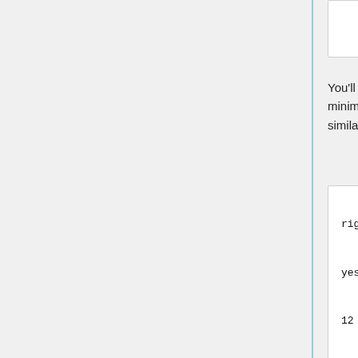You'll need to make another minimization input file with similar contents:
[Figure (screenshot): Code block showing DOCK minimization input file parameters: conformer_search_type rigid, use_internal_energy yes, internal_energy_rep_exp 12, ligand_atom_file ../01.dockprep/1BJU.lig.mol2, limit_max_ligands no, skip_molecule no]